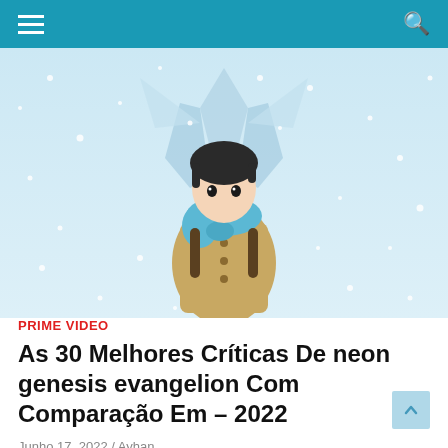Navigation bar with hamburger menu and search icon
[Figure (illustration): Anime-style illustration of a boy wearing a yellow coat and teal scarf, standing in a snowy scene with a large mecha/robot figure behind him]
PRIME VIDEO
As 30 Melhores Críticas De neon genesis evangelion Com Comparação Em – 2022
Junho 17, 2022 / Ayhan
Procurando aconselhamento especializado para comprar